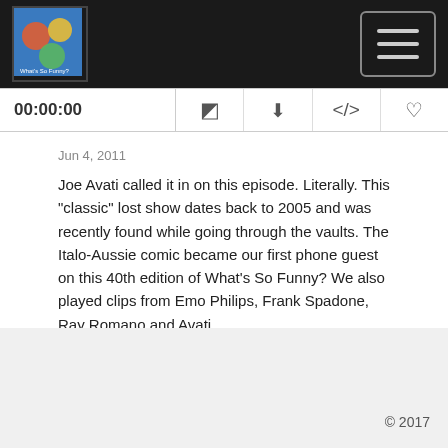Podcast app header with logo and hamburger menu
00:00:00
Jun 4, 2011
Joe Avati called it in on this episode. Literally. This "classic" lost show dates back to 2005 and was recently found while going through the vaults. The Italo-Aussie comic became our first phone guest on this 40th edition of What's So Funny? We also played clips from Emo Philips, Frank Spadone, Ray Romano and Avati...
Read More
© 2017